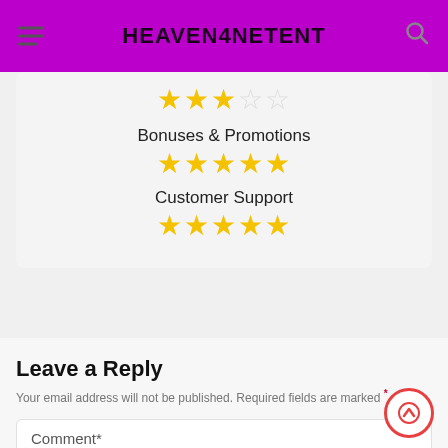HEAVEN4NETENT
[Figure (other): Star rating for Bonuses & Promotions: 5 out of 5 stars (all filled). Star rating for Customer Support: 5 out of 5 stars (all filled). Also partial view of a previous rating row at top showing 3 filled stars and 2 empty stars.]
Leave a Reply
Your email address will not be published. Required fields are marked *
Comment*